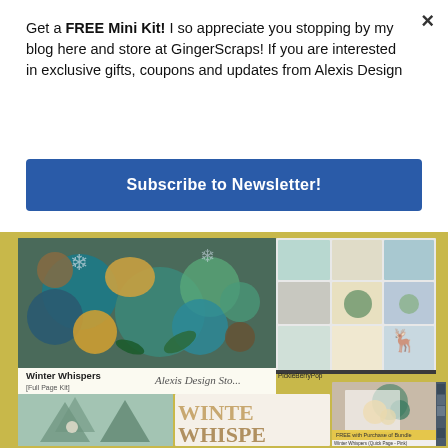Get a FREE Mini Kit! I so appreciate you stopping by my blog here and store at GingerScraps! If you are interested in exclusive gifts, coupons and updates from Alexis Design
Subscribe to Newsletter!
[Figure (photo): Product collage showing 'Winter Whispers' digital scrapbooking kit by Alexis Design Studio, featuring floral elements, papers, and embellishments in teal, gold, and winter tones. Includes Full Page Kit, paper packs, alpha, and Quick Page elements. Text reads 'Winter Whispers [Full Page Kit]' and 'FREE with Purchase of Bundle' and 'Winter Whispers (Quick Page - Pink)']